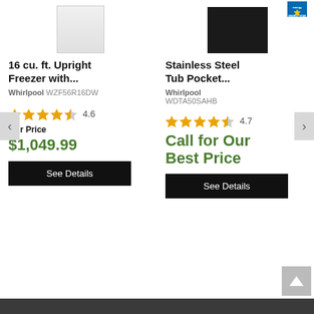[Figure (photo): White upright freezer product image]
16 cu. ft. Upright Freezer with...
Whirlpool WZF56R16DW
[Figure (infographic): 4.6 star rating with 4 full stars and 1 half star]
Our Price
$1,049.99
See Details
[Figure (photo): Black stainless steel dishwasher product image with Energy Star badge]
Stainless Steel Tub Pocket...
Whirlpool WDTA50SAHB
[Figure (infographic): 4.7 star rating with 4 full stars and 1 half star]
Call for Our Best Price
See Details